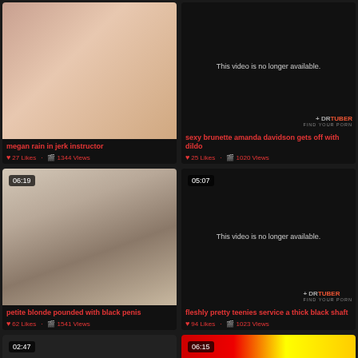[Figure (screenshot): Video thumbnail - megan rain in jerk instructor]
megan rain in jerk instructor
27 Likes · 1344 Views
[Figure (screenshot): Video thumbnail - This video is no longer available - sexy brunette amanda davidson gets off with dildo]
sexy brunette amanda davidson gets off with dildo
25 Likes · 1020 Views
[Figure (screenshot): Video thumbnail 06:19 - petite blonde pounded with black penis]
petite blonde pounded with black penis
62 Likes · 1541 Views
[Figure (screenshot): Video thumbnail 05:07 - This video is no longer available - fleshly pretty teenies service a thick black shaft]
fleshly pretty teenies service a thick black shaft
94 Likes · 1023 Views
[Figure (screenshot): Video thumbnail 02:47 - partial view]
[Figure (screenshot): Video thumbnail 06:15 - partial view with red/yellow color]